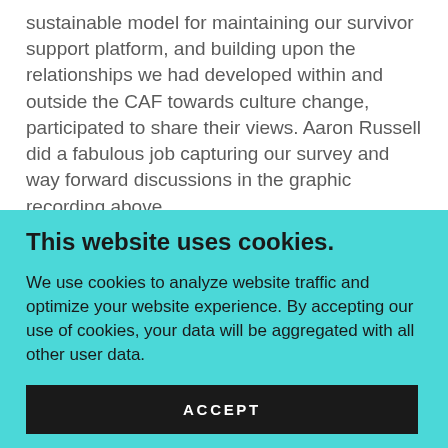sustainable model for maintaining our survivor support platform, and building upon the relationships we had developed within and outside the CAF towards culture change, participated to share their views. Aaron Russell did a fabulous job capturing our survey and way forward discussions in the graphic recording above.
This website uses cookies.
We use cookies to analyze website traffic and optimize your website experience. By accepting our use of cookies, your data will be aggregated with all other user data.
ACCEPT